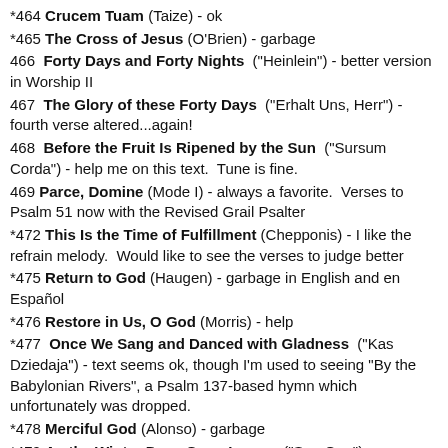*464 Crucem Tuam (Taize) - ok
*465 The Cross of Jesus (O'Brien) - garbage
466  Forty Days and Forty Nights  ("Heinlein") - better version in Worship II
467  The Glory of these Forty Days  ("Erhalt Uns, Herr") - fourth verse altered...again!
468  Before the Fruit Is Ripened by the Sun  ("Sursum Corda") - help me on this text.  Tune is fine.
469  Parce, Domine  (Mode I) - always a favorite.  Verses to Psalm 51 now with the Revised Grail Psalter
*472  This Is the Time of Fulfillment  (Chepponis) - I like the refrain melody.  Would like to see the verses to judge better
*475  Return to God  (Haugen) - garbage in English and en Español
*476  Restore in Us, O God  (Morris) - help
*477  Once We Sang and Danced with Gladness  ("Kas Dziedaja") - text seems ok, though I'm used to seeing "By the Babylonian Rivers", a Psalm 137-based hymn which unfortunately was dropped.
*478  Merciful God  (Alonso) - garbage
*479  As the Winter Days Grow Longer  ("Suo Gan") - nope
*480  Stations of the Cross  (Rowan) - Not a bad piece at